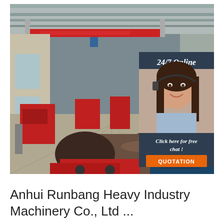[Figure (photo): Interior of a large industrial factory with red overhead crane, heavy machinery, and metal pipes/tubes being processed. An overlay panel in the top-right shows a customer service representative with headset, text '24/7 Online', 'Click here for free chat!', and an orange QUOTATION button.]
Anhui Runbang Heavy Industry Machinery Co., Ltd ...